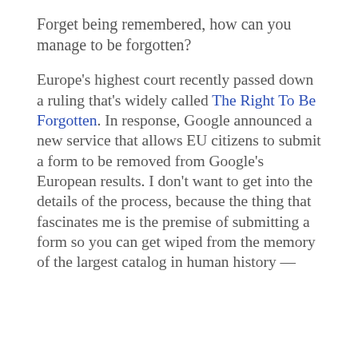Forget being remembered, how can you manage to be forgotten?
Europe's highest court recently passed down a ruling that's widely called The Right To Be Forgotten. In response, Google announced a new service that allows EU citizens to submit a form to be removed from Google's European results. I don't want to get into the details of the process, because the thing that fascinates me is the premise of submitting a form so you can get wiped from the memory of the largest catalog in human history —